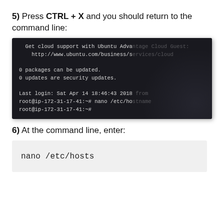5) Press CTRL + X and you should return to the command line:
[Figure (screenshot): Terminal screenshot showing Ubuntu command line after exiting nano editor. Text: 'Get cloud support with Ubuntu Advantage Cloud Guest: http://www.ubuntu.com/business/services/cloud
0 packages can be updated.
0 updates are security updates.

Last login: Sat Apr 14 18:46:43 2018 from
root@ip-172-31-17-41:~# nano /etc/hostname
root@ip-172-31-17-41:~#']
6) At the command line, enter:
nano /etc/hosts